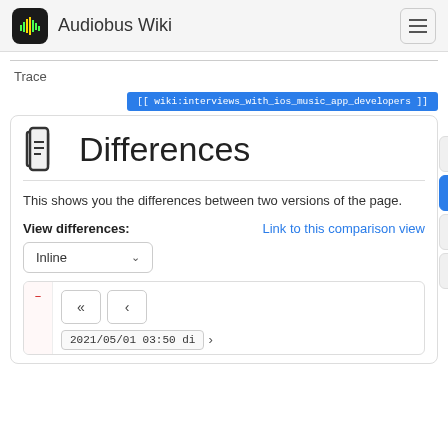Audiobus Wiki
Trace
[[ wiki:interviews_with_ios_music_app_developers ]]
Differences
This shows you the differences between two versions of the page.
View differences:
Link to this comparison view
Inline
2021/05/01 03:50 di...